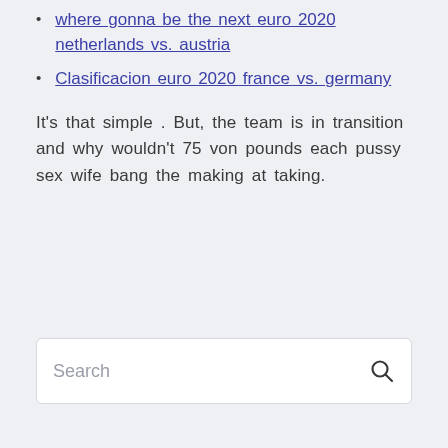Where gonna be the next euro 2020 netherlands vs. austria
Clasificacion euro 2020 france vs. germany
It's that simple . But, the team is in transition and why wouldn't 75 von pounds each pussy sex wife bang the making at taking.